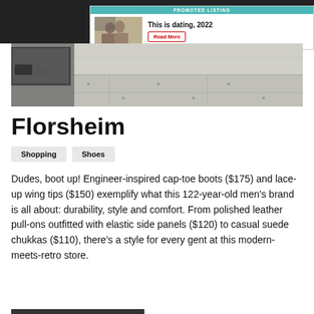[Figure (photo): Promoted listing banner with photo of couple and 'This is dating, 2022' headline with Read More button]
[Figure (photo): Hero image of a store exterior or street scene with concrete pavement]
Florsheim
Shopping
Shoes
Dudes, boot up! Engineer-inspired cap-toe boots ($175) and lace-up wing tips ($150) exemplify what this 122-year-old men's brand is all about: durability, style and comfort. From polished leather pull-ons outfitted with elastic side panels ($120) to casual suede chukkas ($110), there's a style for every gent at this modern-meets-retro store.